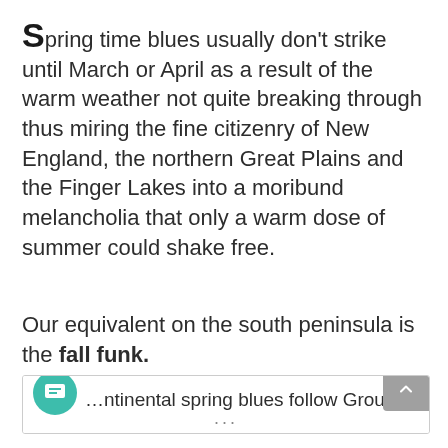Spring time blues usually don't strike until March or April as a result of the warm weather not quite breaking through thus miring the fine citizenry of New England, the northern Great Plains and the Finger Lakes into a moribund melancholia that only a warm dose of summer could shake free.
Our equivalent on the south peninsula is the fall funk.
…ntinental spring blues follow Groundhog Day
...